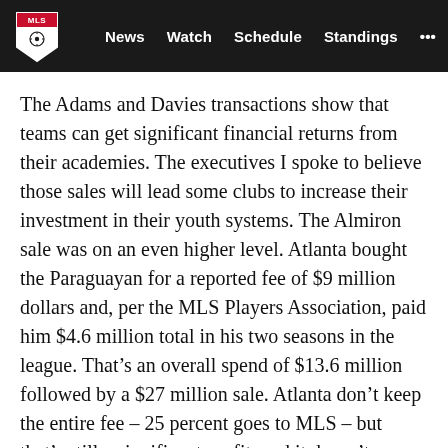MLS | News  Watch  Schedule  Standings  ...
The Adams and Davies transactions show that teams can get significant financial returns from their academies. The executives I spoke to believe those sales will lead some clubs to increase their investment in their youth systems. The Almiron sale was on an even higher level. Atlanta bought the Paraguayan for a reported fee of $9 million dollars and, per the MLS Players Association, paid him $4.6 million total in his two seasons in the league. That's an overall spend of $13.6 million followed by a $27 million sale. Atlanta don't keep the entire fee – 25 percent goes to MLS – but that's still a significant profit, and it doesn't even touch on the incredible impact Almiron had both on and off